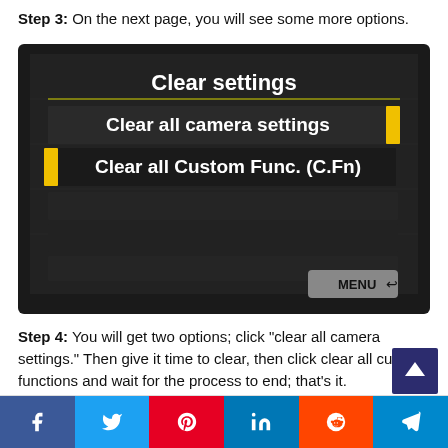Step 3: On the next page, you will see some more options.
[Figure (screenshot): Camera LCD screen showing 'Clear settings' menu with options: 'Clear all camera settings' and 'Clear all Custom Func. (C.Fn)' highlighted in yellow. MENU button shown at bottom right.]
Step 4: You will get two options; click "clear all camera settings." Then give it time to clear, then click clear all custom functions and wait for the process to end; that's it.